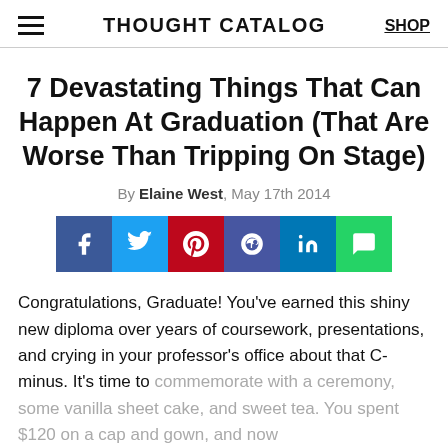THOUGHT CATALOG  SHOP
7 Devastating Things That Can Happen At Graduation (That Are Worse Than Tripping On Stage)
By Elaine West, May 17th 2014
[Figure (infographic): Social share buttons: Facebook (blue), Twitter (cyan/blue), Pinterest (red), Reddit (dark blue/orange), LinkedIn (blue), Chat/Message (green)]
Congratulations, Graduate! You’ve earned this shiny new diploma over years of coursework, presentations, and crying in your professor’s office about that C-minus. It’s time to commemorate with a ceremony, some vanilla sheet cake, and sweet tea. You spent $120 on a cap and gown, and now